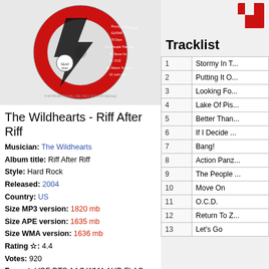[Figure (photo): CD disc image for The Wildhearts - Riff After Riff album on Searhead label, red disc with track listing text]
The Wildhearts - Riff After Riff
Musician: The Wildhearts
Album title: Riff After Riff
Style: Hard Rock
Released: 2004
Country: US
Size MP3 version: 1820 mb
Size APE version: 1635 mb
Size WMA version: 1636 mb
Rating ☆: 4.4
Votes: 920
Format: VQF DTS AAC WMA AUD FLAC TTA
Genre: Rock
[Figure (logo): Red and white logo in top right corner]
Tracklist
| # | Title |
| --- | --- |
| 1 | Stormy In T... |
| 2 | Putting It O... |
| 3 | Looking Fo... |
| 4 | Lake Of Pis... |
| 5 | Better Than... |
| 6 | If I Decide ... |
| 7 | Bang! |
| 8 | Action Panz... |
| 9 | The People ... |
| 10 | Move On |
| 11 | O.C.D. |
| 12 | Return To Z... |
| 13 | Let's Go |